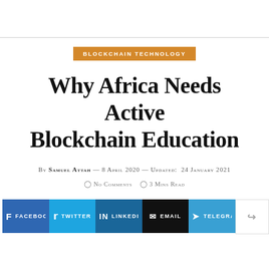BLOCKCHAIN TECHNOLOGY
Why Africa Needs Active Blockchain Education
By Samuel Attah — 8 April 2020 — Updated: 24 January 2021
No Comments  3 Mins Read